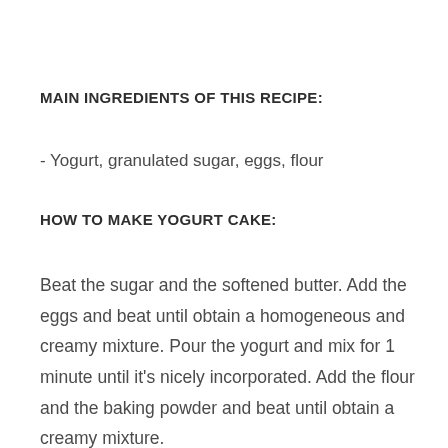MAIN INGREDIENTS OF THIS RECIPE:
- Yogurt, granulated sugar, eggs, flour
HOW TO MAKE YOGURT CAKE:
Beat the sugar and the softened butter. Add the eggs and beat until obtain a homogeneous and creamy mixture. Pour the yogurt and mix for 1 minute until it's nicely incorporated. Add the flour and the baking powder and beat until obtain a creamy mixture.